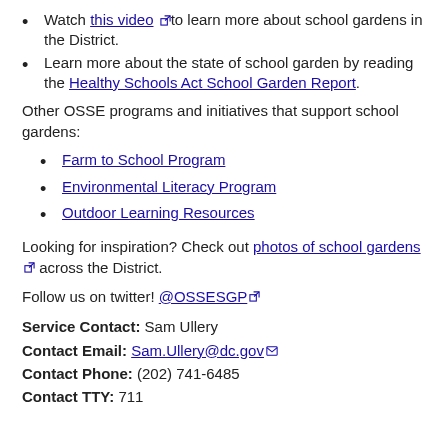Watch this video [link] to learn more about school gardens in the District.
Learn more about the state of school garden by reading the Healthy Schools Act School Garden Report.
Other OSSE programs and initiatives that support school gardens:
Farm to School Program
Environmental Literacy Program
Outdoor Learning Resources
Looking for inspiration? Check out photos of school gardens [link] across the District.
Follow us on twitter! @OSSESGP [link]
Service Contact: Sam Ullery
Contact Email: Sam.Ullery@dc.gov
Contact Phone: (202) 741-6485
Contact TTY: 711